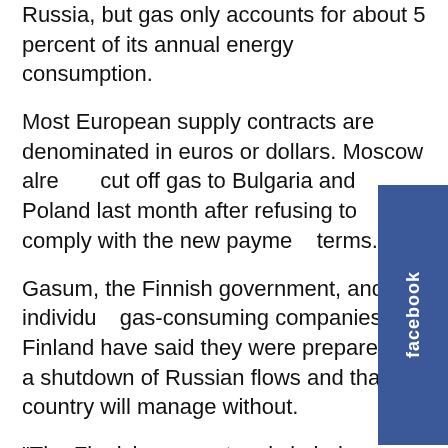Russia, but gas only accounts for about 5 percent of its annual energy consumption.
Most European supply contracts are denominated in euros or dollars. Moscow already cut off gas to Bulgaria and Poland last month after refusing to comply with the new payment terms.
Gasum, the Finnish government, and individual gas-consuming companies in Finland have said they were prepared for a shutdown of Russian flows and that the country will manage without.
“The Finnish gas system is in balance both physically and commercially,” Gasgrid said on Saturday.